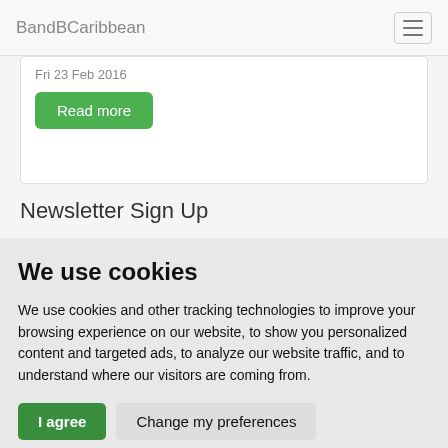BandBCaribbean
Fri 23 Feb 2016
Read more
Newsletter Sign Up
We use cookies
We use cookies and other tracking technologies to improve your browsing experience on our website, to show you personalized content and targeted ads, to analyze our website traffic, and to understand where our visitors are coming from.
I agree  Change my preferences